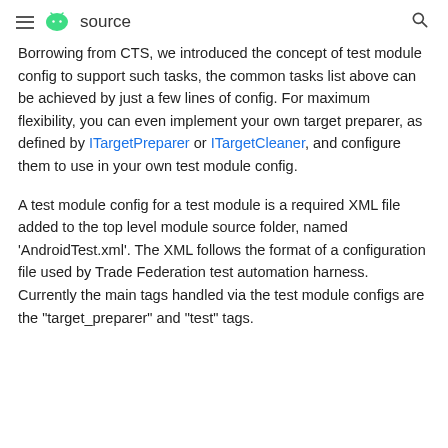≡ 🤖 source  🔍
Borrowing from CTS, we introduced the concept of test module config to support such tasks, the common tasks list above can be achieved by just a few lines of config. For maximum flexibility, you can even implement your own target preparer, as defined by ITargetPreparer or ITargetCleaner, and configure them to use in your own test module config.
A test module config for a test module is a required XML file added to the top level module source folder, named 'AndroidTest.xml'. The XML follows the format of a configuration file used by Trade Federation test automation harness. Currently the main tags handled via the test module configs are the "target_preparer" and "test" tags.